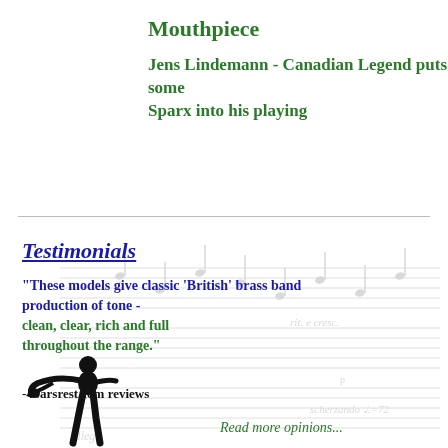Mouthpiece
Jens Lindemann - Canadian Legend puts some Sparx into his playing
Testimonials
"These models give classic 'British' brass band production of tone - clean, clear, rich and full throughout the range."
-4barsrest.com reviews
Read more opinions...